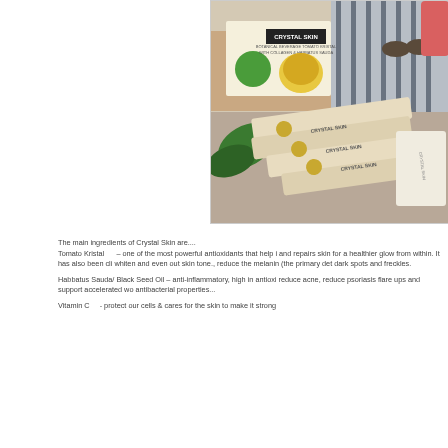[Figure (photo): Two-panel photo: top shows a woman in striped top holding a pink drink next to Crystal Skin product box (botanical beverage tomato kristal with collagen & habbatus sauda); bottom shows multiple Crystal Skin sachets arranged on a surface near green leaves.]
The main ingredients of Crystal Skin are....
Tomato Kristal    –  one of the most powerful antioxidants that help i and repairs skin for a healthier glow from within. It has also been cli whiten and even out skin tone., reduce the melanin (the primary det dark spots and freckles.

Habbatus Sauda/ Black Seed Oil – anti-inflammatory, high in antioxi reduce acne, reduce psoriasis flare ups and support accelerated wo antibacterial properties...

Vitamin C    -  protect our cells & cares for the skin to make it strong